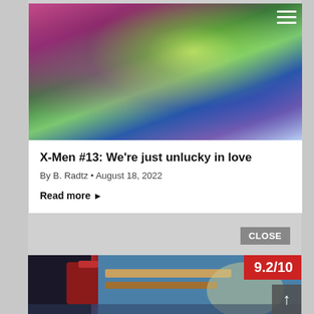[Figure (illustration): Comic book cover art showing two female superheroes in action. Left figure has red hair and wears a green and black costume with an X emblem. Right figure wears a purple and black outfit and projects a glowing green energy orb. Background has light blue and purple tones.]
X-Men #13: We're just unlucky in love
By B. Radtz • August 18, 2022
Read more ▶
CLOSE
[Figure (illustration): Partial comic book artwork visible at bottom of page showing costumed characters. A red badge in the upper right corner shows the score 9.2/10.]
9.2/10